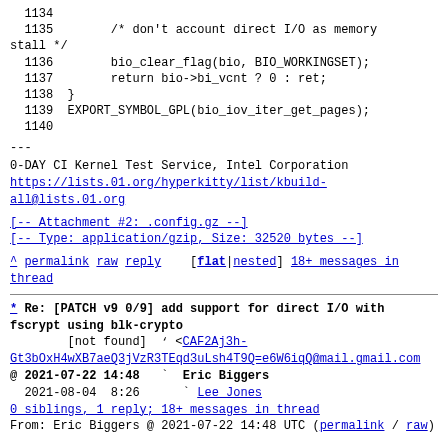1134
1135        /* don't account direct I/O as memory stall */
1136        bio_clear_flag(bio, BIO_WORKINGSET);
1137        return bio->bi_vcnt ? 0 : ret;
1138  }
1139  EXPORT_SYMBOL_GPL(bio_iov_iter_get_pages);
1140
---
0-DAY CI Kernel Test Service, Intel Corporation
https://lists.01.org/hyperkitty/list/kbuild-all@lists.01.org
[-- Attachment #2: .config.gz --]
[-- Type: application/gzip, Size: 32520 bytes --]
^ permalink raw reply    [flat|nested] 18+ messages in thread
* Re: [PATCH v9 0/9] add support for direct I/O with fscrypt using blk-crypto
        [not found]   <CAF2Aj3h-Gt3bOxH4wXB7aeQ3jVzR3TEqd3uLsh4T9Q=e6W6iqQ@mail.gmail.com>
@ 2021-07-22 14:48   ` Eric Biggers
  2021-08-04  8:26     ` Lee Jones
  0 siblings, 1 reply; 18+ messages in thread
From: Eric Biggers @ 2021-07-22 14:48 UTC (permalink / raw)